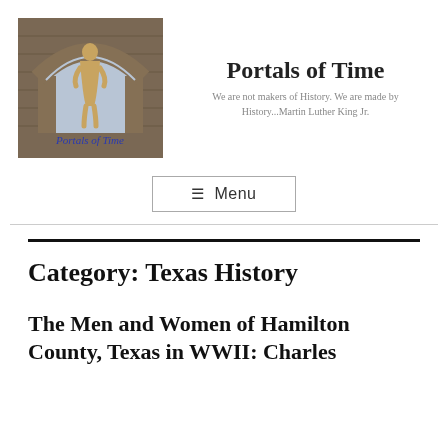[Figure (illustration): Logo image for 'Portals of Time' blog showing a stone arch with a golden figurine standing in the center, and cursive blue text 'Portals of Time' at the bottom]
Portals of Time
We are not makers of History. We are made by History...Martin Luther King Jr.
☰ Menu
Category: Texas History
The Men and Women of Hamilton County, Texas in WWII: Charles